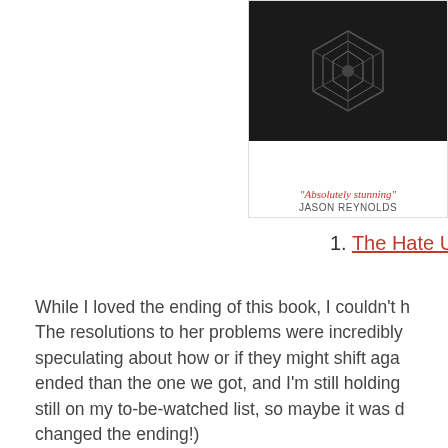[Figure (photo): Book cover partially visible at top right — dark/black cover with geometric hexagonal pattern and text 'Absolutely stunning — JASON REYNOLDS' in red italic]
1. The Hate U G
While I loved the ending of this book, I couldn't h The resolutions to her problems were incredibly speculating about how or if they might shift aga ended than the one we got, and I'm still holding still on my to-be-watched list, so maybe it was d changed the ending!)
[Figure (photo): Book cover partially visible at bottom right — green/grey cover with leaf pattern overlay and a partial eye visible, author name LAURIE at top]